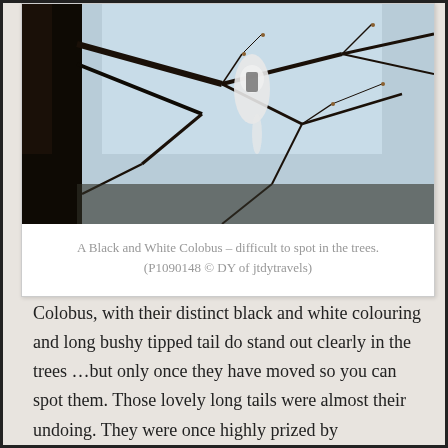[Figure (photo): A Black and White Colobus monkey photographed looking up through bare tree branches against a light blue sky. The colobus is partially obscured by the branches and is difficult to spot.]
A Black and White Colobus – difficult to spot in the trees. (P1090148 © DY of jtdytravels)
Colobus, with their distinct black and white colouring and long bushy tipped tail do stand out clearly in the trees …but only once they have moved so you can spot them. Those lovely long tails were almost their undoing. They were once highly prized by tribespeople as 'fly whisks'! And their pelts were highly prized too as part of